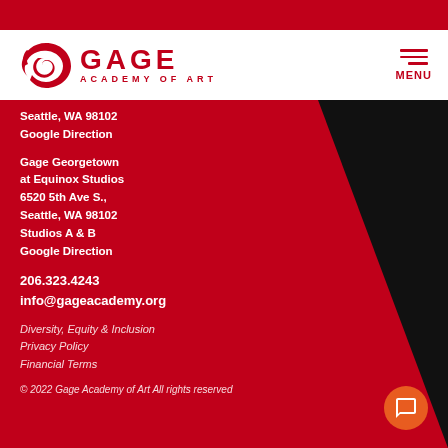[Figure (logo): Gage Academy of Art logo with stylized red bird and text]
Seattle, WA 98102
Google Direction
Gage Georgetown
at Equinox Studios
6520 5th Ave S.,
Seattle, WA 98102
Studios A & B
Google Direction
206.323.4243
info@gageacademy.org
Diversity, Equity & Inclusion
Privacy Policy
Financial Terms
© 2022 Gage Academy of Art All rights reserved